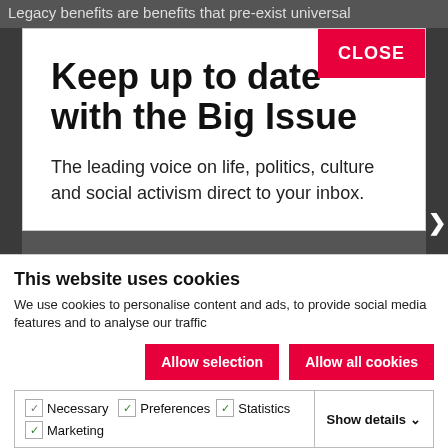Legacy benefits are benefits that pre-exist universal
Keep up to date with the Big Issue
The leading voice on life, politics, culture and social activism direct to your inbox.
This website uses cookies
We use cookies to personalise content and ads, to provide social media features and to analyse our traffic
Allow selection
Allow all cookies
Necessary   Preferences   Statistics   Marketing   Show details